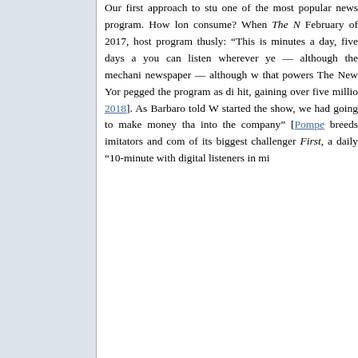Our first approach to stu... one of the most popular news program. How lon... consume? When The N... February of 2017, host program thusly: “This is minutes a day, five days a... you can listen wherever ye — although the mechani newspaper — although w that powers The New Yor pegged the program as di hit, gaining over five millio 2018]. As Barbaro told W started the show, we had going to make money tha into the company” [Pompe breeds imitators and com of its biggest challenger First, a daily “10-minute with digital listeners in mi...